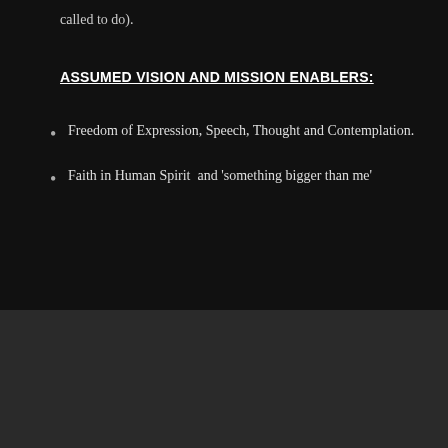called to do).
ASSUMED VISION AND MISSION ENABLERS:
Freedom of Expression, Speech, Thought and Contemplation.
Faith in Human Spirit  and ‘something bigger than me’
PODCASTS / ABOUT / CONTACT